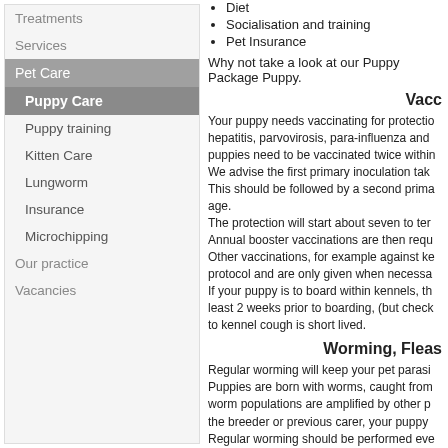Diet
Socialisation and training
Pet Insurance
Why not take a look at our Puppy Package Puppy.
Vacc
Your puppy needs vaccinating for protection hepatitis, parvovirosis, para-influenza and puppies need to be vaccinated twice within We advise the first primary inoculation take This should be followed by a second prima age. The protection will start about seven to ten Annual booster vaccinations are then requ Other vaccinations, for example against ke protocol and are only given when necessa If your puppy is to board within kennels, th least 2 weeks prior to boarding, (but check to kennel cough is short lived.
Worming, Fleas
Regular worming will keep your pet parasi Puppies are born with worms, caught from worm populations are amplified by other p the breeder or previous carer, your puppy Regular worming should be performed eve then every 3 months to one year dependir worming will protect your dog and your fa
Treatments
Services
Pet Care
Puppy Care
Puppy training
Kitten Care
Lungworm
Insurance
Microchipping
Our practice
Vacancies